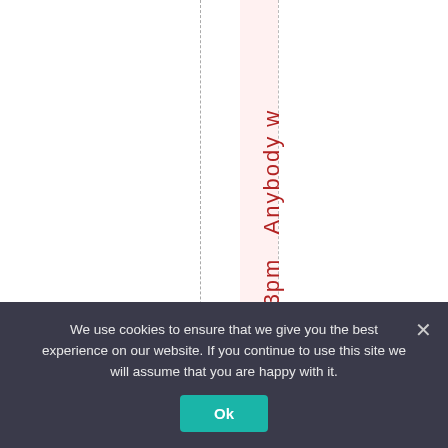[Figure (screenshot): A webpage screenshot showing a calendar or scheduling interface. There is a pink highlighted vertical column with dashed border lines. Rotated text reads '14 at 8:23pm' in red and 'Anybody w' in dark/black, oriented vertically.]
We use cookies to ensure that we give you the best experience on our website. If you continue to use this site we will assume that you are happy with it. Ok